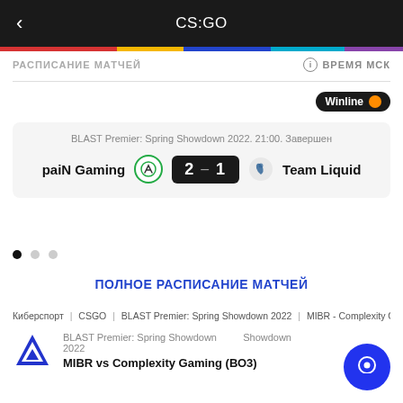CS:GO
РАСПИСАНИЕ МАТЧЕЙ   ⓘ ВРЕМЯ МСК
Winline
BLAST Premier: Spring Showdown 2022. 21:00. Завершен
paiN Gaming  2 – 1  Team Liquid
ПОЛНОЕ РАСПИСАНИЕ МАТЧЕЙ
Киберспорт | CSGO | BLAST Premier: Spring Showdown 2022 | MIBR - Complexity Gaming
BLAST Premier: Spring Showdown 2022   Showdown
MIBR vs Complexity Gaming (ВО3)